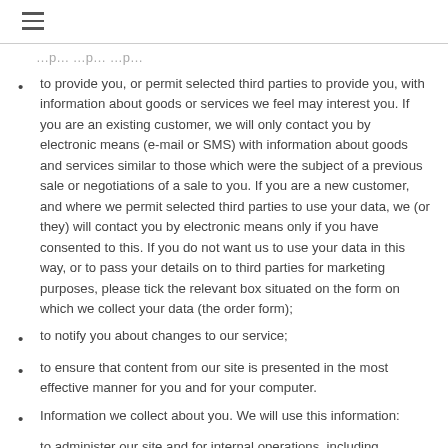…p… …p… …p…
to provide you, or permit selected third parties to provide you, with information about goods or services we feel may interest you. If you are an existing customer, we will only contact you by electronic means (e-mail or SMS) with information about goods and services similar to those which were the subject of a previous sale or negotiations of a sale to you. If you are a new customer, and where we permit selected third parties to use your data, we (or they) will contact you by electronic means only if you have consented to this. If you do not want us to use your data in this way, or to pass your details on to third parties for marketing purposes, please tick the relevant box situated on the form on which we collect your data (the order form);
to notify you about changes to our service;
to ensure that content from our site is presented in the most effective manner for you and for your computer.
Information we collect about you. We will use this information:
to administer our site and for internal operations, including